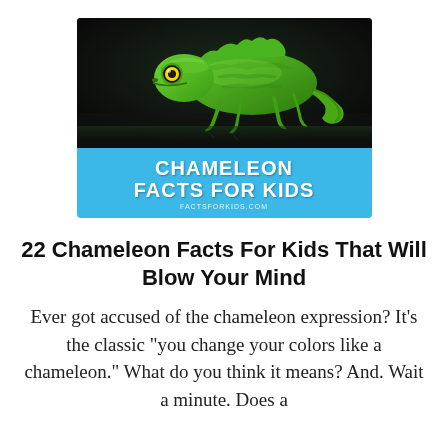[Figure (photo): A green chameleon on a dark background above a light blue banner reading 'CHAMELEON FACTS FOR KIDS' with cartoon children and a small chameleon illustration. Website: FACTSFORKIDS.COM]
22 Chameleon Facts For Kids That Will Blow Your Mind
Ever got accused of the chameleon expression? It’s the classic “you change your colors like a chameleon.” What do you think it means? And. Wait a minute. Does a